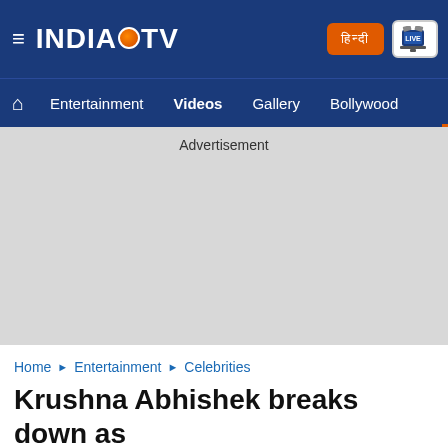INDIA TV - Navigation header with logo, Hindi button, Live TV button, and nav links: Entertainment, Videos, Gallery, Bollywood
[Figure (other): Advertisement placeholder area with gray background]
Home › Entertainment › Celebrities
Krushna Abhishek breaks down as